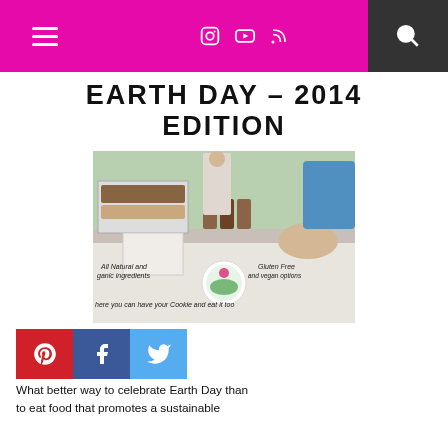Navigation bar with hamburger menu, social icons, and search
EARTH DAY – 2014 EDITION
[Figure (photo): Outdoor market booth with baked goods displayed on a table with a white tablecloth. The tablecloth reads: 'All Natural and Organic Ingredients', 'Gluten Free and vegan options', and 'Where you can have your Cookie and eat it too'. A circular logo is in the center of the tablecloth.]
[Figure (infographic): Social sharing buttons: Pinterest (red), Facebook (blue), Twitter (light blue)]
What better way to celebrate Earth Day than to eat food that promotes a sustainable